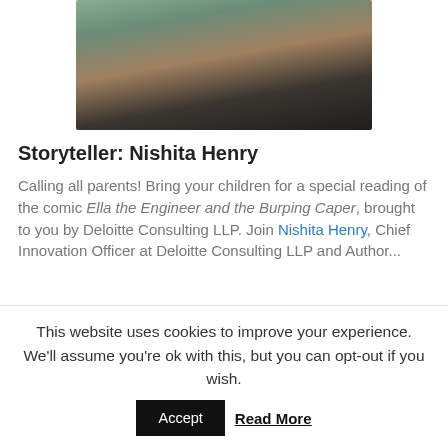[Figure (photo): Portrait photo of a woman with dark hair, smiling, wearing a dark blazer, displayed at the top of the page.]
Storyteller: Nishita Henry
Calling all parents! Bring your children for a special reading of the comic Ella the Engineer and the Burping Caper, brought to you by Deloitte Consulting LLP. Join Nishita Henry, Chief Innovation Officer at Deloitte Consulting LLP and Author...
This website uses cookies to improve your experience. We'll assume you're ok with this, but you can opt-out if you wish.